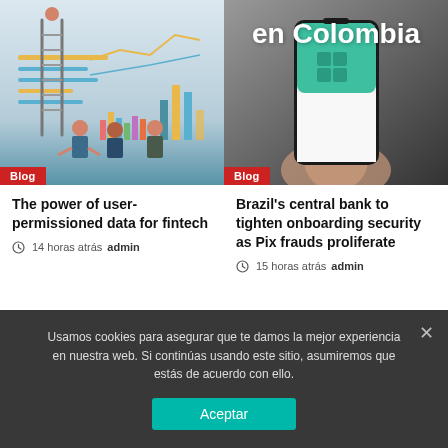en Colombia
[Figure (illustration): Analytics/fintech illustration with a ladder, people analyzing charts and bar graphs on a light blue background. Red 'Blog' tag at bottom left.]
[Figure (photo): Hand holding a smartphone displaying the Pix payment app logo (green tiles and text 'pix') on a green and white screen. Dark background. Red 'Blog' tag at bottom left.]
The power of user-permissioned data for fintech
14 horas atrás  admin
Brazil's central bank to tighten onboarding security as Pix frauds proliferate
15 horas atrás  admin
Usamos cookies para asegurar que te damos la mejor experiencia en nuestra web. Si continúas usando este sitio, asumiremos que estás de acuerdo con ello.